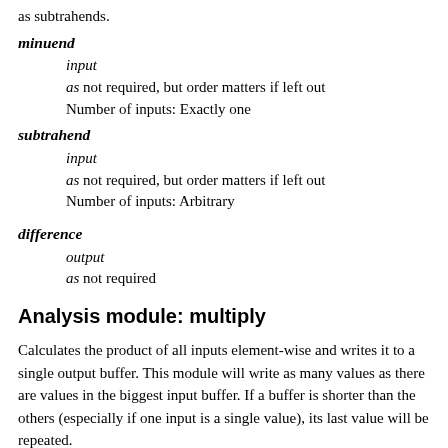as subtrahends.
minuend
input
as not required, but order matters if left out
Number of inputs: Exactly one
subtrahend
input
as not required, but order matters if left out
Number of inputs: Arbitrary
difference
output
as not required
Analysis module: multiply
Calculates the product of all inputs element-wise and writes it to a single output buffer. This module will write as many values as there are values in the biggest input buffer. If a buffer is shorter than the others (especially if one input is a single value), its last value will be repeated.
factor
input